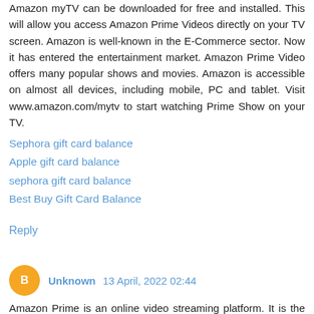Amazon myTV can be downloaded for free and installed. This will allow you access Amazon Prime Videos directly on your TV screen. Amazon is well-known in the E-Commerce sector. Now it has entered the entertainment market. Amazon Prime Video offers many popular shows and movies. Amazon is accessible on almost all devices, including mobile, PC and tablet. Visit www.amazon.com/mytv to start watching Prime Show on your TV.
Sephora gift card balance
Apple gift card balance
sephora gift card balance
Best Buy Gift Card Balance
Reply
Unknown  13 April, 2022 02:44
Amazon Prime is an online video streaming platform. It is the main competitor to Netflix, Hulu and other global streaming platforms. Amazon prime members can access unlimited video without ads. Amazon prime offers amazing episodes and unique dramas. Amazon takes care of